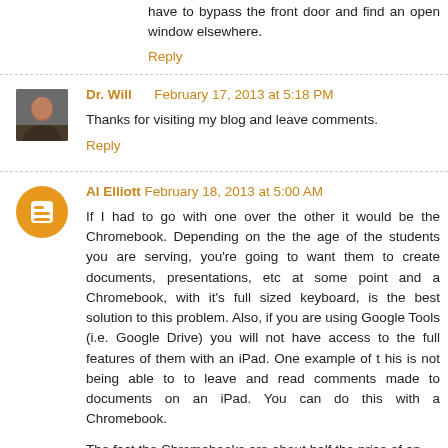have to bypass the front door and find an open window elsewhere.
Reply
Dr. Will    February 17, 2013 at 5:18 PM
Thanks for visiting my blog and leave comments.
Reply
Al Elliott   February 18, 2013 at 5:00 AM
If I had to go with one over the other it would be the Chromebook. Depending on the the age of the students you are serving, you're going to want them to create documents, presentations, etc at some point and a Chromebook, with it's full sized keyboard, is the best solution to this problem. Also, if you are using Google Tools (i.e. Google Drive) you will not have access to the full features of them with an iPad. One example of t his is not being able to to leave and read comments made to documents on an iPad. You can do this with a Chromebook.
The fact the Chromebooks are about half the price of an